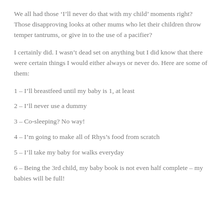We all had those ‘I’ll never do that with my child’ moments right? Those disapproving looks at other mums who let their children throw temper tantrums, or give in to the use of a pacifier?
I certainly did. I wasn’t dead set on anything but I did know that there were certain things I would either always or never do. Here are some of them:
1 – I’ll breastfeed until my baby is 1, at least
2 – I’ll never use a dummy
3 – Co-sleeping? No way!
4 – I’m going to make all of Rhys’s food from scratch
5 – I’ll take my baby for walks everyday
6 – Being the 3rd child, my baby book is not even half complete – my babies will be full!